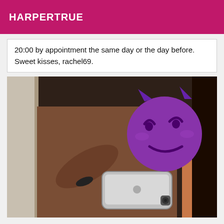HARPERTRUE
20:00 by appointment the same day or the day before. Sweet kisses, rachel69.
[Figure (photo): Mirror selfie of a person holding a smartphone, face covered with a purple devil/smirk emoji overlay.]